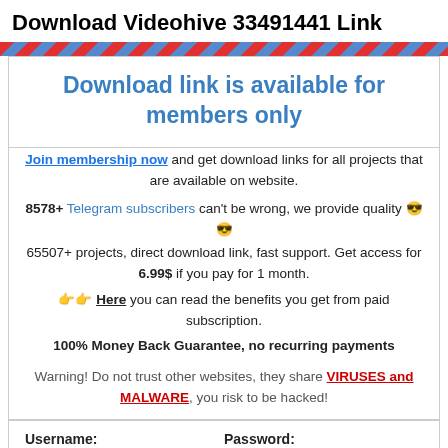Download Videohive 33491441 Link
Download link is available for members only
Join membership now and get download links for all projects that are available on website.
8578+ Telegram subscribers can't be wrong, we provide quality 😎😎
65507+ projects, direct download link, fast support. Get access for 6.99$ if you pay for 1 month.
👉👉 Here you can read the benefits you get from paid subscription.
100% Money Back Guarantee, no recurring payments
Warning! Do not trust other websites, they share VIRUSES and MALWARE, you risk to be hacked!
Username:    Password: